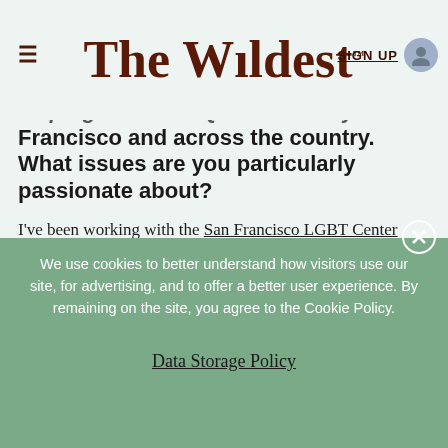The Wildest™ SIGN UP
helping the LGBTQ+ community in San Francisco and across the country. What issues are you particularly passionate about?
I've been working with the San Francisco LGBT Center since they first opened their doors in 2002 and I'm particularly interested in bettering the lives of queer elders. The queer elders in my own life have taught me that the only way forward is to live our lives unapologetically and without fear. The road to achieving freedom comes from knowing our queer
We use cookies to better understand how visitors use our site, for advertising, and to offer a better user experience. By remaining on the site, you agree to the Cookie Policy.
Data Storage Policy